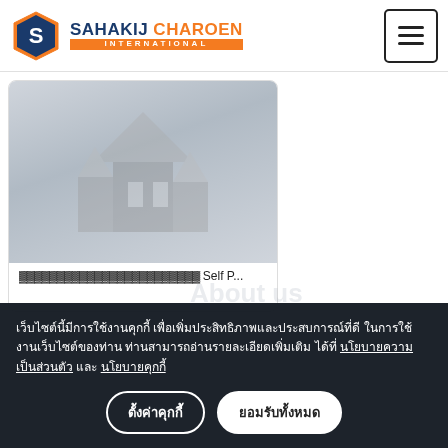[Figure (logo): Sahakij Charoen International logo with hexagonal S icon in blue and orange]
[Figure (screenshot): Website card with decorative building/architecture illustration, caption showing Thai text and 'Self P...']
เว็บไซต์นี้มีการใช้งานคุกกี้ เพื่อเพิ่มประสิทธิภาพและประสบการณ์ที่ดีในการใช้งานเว็บไซต์ของท่าน ท่านสามารถอ่านรายละเอียดเพิ่มเติมได้ที่ นโยบายความเป็นส่วนตัว และ นโยบายคุกกี้
ตั้งค่าคุกกี้
ยอมรับทั้งหมด